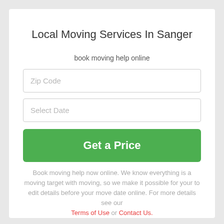Local Moving Services In Sanger
book moving help online
Zip Code
Select Date
Get a Price
Book moving help now online. We know everything is a moving target with moving, so we make it possible for your to edit details before your move date online. For more details see our Terms of Use or Contact Us.